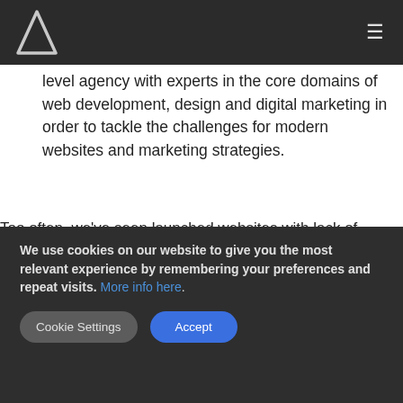Navigation bar with logo and hamburger menu
level agency with experts in the core domains of web development, design and digital marketing in order to tackle the challenges for modern websites and marketing strategies.
Too often, we've seen launched websites with lack of preparation and vision.
We lift the end result by helping our clients with brainstorm sessions, deep-dive functional analysis, scope definition
We use cookies on our website to give you the most relevant experience by remembering your preferences and repeat visits. More info here.